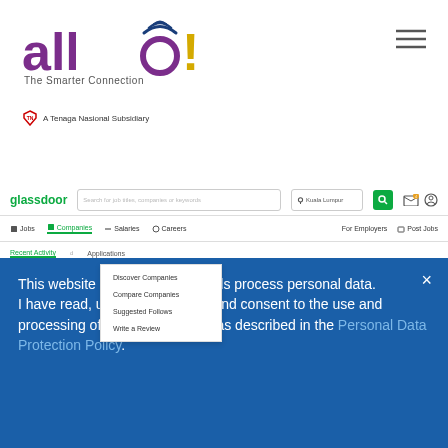[Figure (logo): Allo! The Smarter Connection logo with WiFi symbol over the 'o', purple text, and 'A Tenaga Nasional Subsidiary' badge below]
[Figure (screenshot): Screenshot of Glassdoor website showing navigation bar with Jobs, Companies (active with dropdown showing Discover Companies, Compare Companies, Suggested Follows, Write a Review), Salaries, Careers menus, search bar, and main content area with Recent Activity, Recent Searches tabs, user avatar, and Welcome to Glassdoor message]
Internet and Employment
This website or its third-party tools process personal data.
I have read, understood, agree and consent to the use and processing of my personal data as described in the Personal Data Protection Policy.